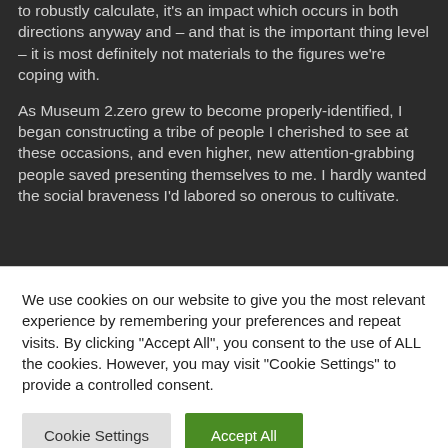to robustly calculate, it's an impact which occurs in both directions anyway and – and that is the important thing level – it is most definitely not materials to the figures we're coping with.
As Museum 2.zero grew to become properly-identified, I began constructing a tribe of people I cherished to see at these occasions, and even higher, new attention-grabbing people saved presenting themselves to me. I hardly wanted the social braveness I'd labored so onerous to cultivate.
We use cookies on our website to give you the most relevant experience by remembering your preferences and repeat visits. By clicking "Accept All", you consent to the use of ALL the cookies. However, you may visit "Cookie Settings" to provide a controlled consent.